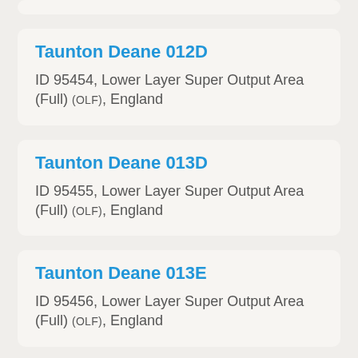Taunton Deane 012D
ID 95454, Lower Layer Super Output Area (Full) (OLF), England
Taunton Deane 013D
ID 95455, Lower Layer Super Output Area (Full) (OLF), England
Taunton Deane 013E
ID 95456, Lower Layer Super Output Area (Full) (OLF), England